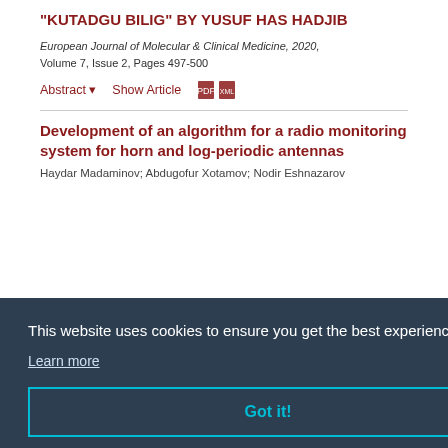"KUTADGU BILIG" BY YUSUF HAS HADJIB
European Journal of Molecular & Clinical Medicine, 2020, Volume 7, Issue 2, Pages 497-500
Abstract ▾    Show Article
Development of an algorithm for a radio monitoring system for horn and log-periodic antennas
Haydar Madaminov; Abdugofur Xotamov; Nodir Eshnazarov
This website uses cookies to ensure you get the best experience on our website
Learn more
Got it!